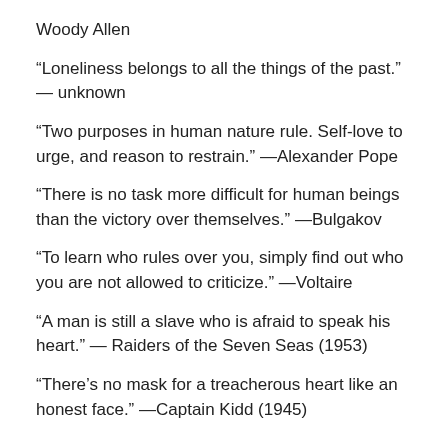Woody Allen
“Loneliness belongs to all the things of the past.” — unknown
“Two purposes in human nature rule. Self-love to urge, and reason to restrain.” —Alexander Pope
“There is no task more difficult for human beings than the victory over themselves.” —Bulgakov
“To learn who rules over you, simply find out who you are not allowed to criticize.” —Voltaire
“A man is still a slave who is afraid to speak his heart.” — Raiders of the Seven Seas (1953)
“There’s no mask for a treacherous heart like an honest face.” —Captain Kidd (1945)